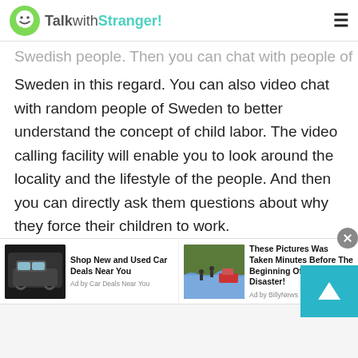TalkwithStranger!
Swedish people. Then you can chat with people of Sweden in this regard. You can also video chat with random people of Sweden to better understand the concept of child labor. The video calling facility will enable you to look around the locality and the lifestyle of the people. And then you can directly ask them questions about why they force their children to work.
Apart from this, you can also chat with people at a talk with the stranger as if you were in a regular café or a restaurant. The discussion section allows
[Figure (screenshot): Advertisement bar with two ad units: 'Shop New and Used Car Deals Near You' by Car Deals Near You, and 'These Pictures Was Taken Minutes Before The Beginning Of The Disaster!' by BillyNews]